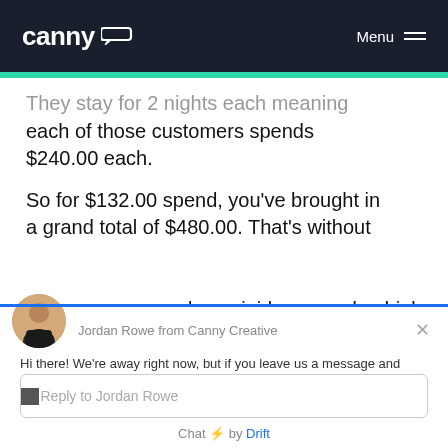canny [logo] Menu
They stay for 2 nights each meaning each of those customers spends $240.00 each.
So for $132.00 spend, you've brought in a grand total of $480.00. That's without room upgrades, mini-bar spends, drinks
[Figure (screenshot): Drift chat widget with avatar of Jordan Rowe from Canny Creative, greeting message, reply input box, and 'Chat by Drift' footer]
Jordan Rowe from Canny Creative
Hi there! We're away right now, but if you leave us a message and your email address we'll get back to you soon!
Reply to Jordan Rowe
Chat ⚡ by Drift